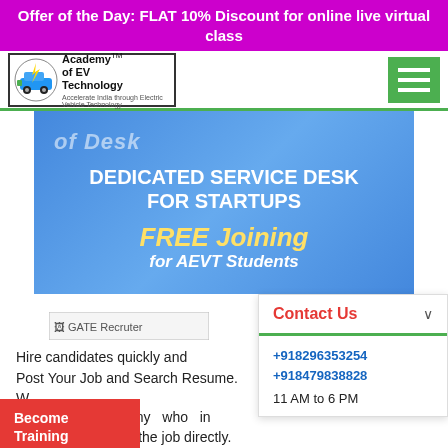Offer of the Day: FLAT 10% Discount for online live virtual class
[Figure (logo): Academy of EV Technology logo with car icon]
[Figure (illustration): Green hamburger menu button]
[Figure (illustration): Blue gradient banner showing DEDICATED SERVICE DESK FOR STARTUPS FREE Joining for AEVT Students]
DEDICATED SERVICE DESK FOR STARTUPS
FREE Joining for AEVT Students
[Figure (illustration): Contact Us panel with phone numbers +918296353254 +918479838828 11 AM to 6 PM]
[Figure (photo): GATE Recruter image placeholder]
Hire candidates quickly and
Post Your Job and Search Resume. W... Directly a company who in... candidates them the job directly.
Become Training Partner